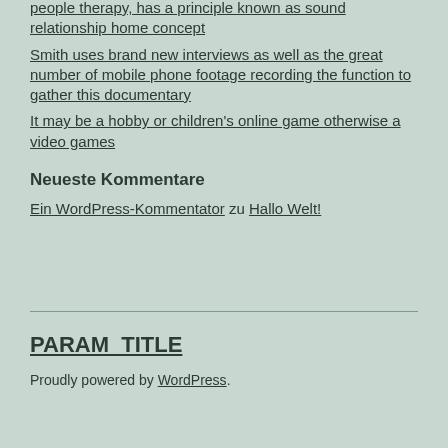people therapy, has a principle known as sound relationship home concept
Smith uses brand new interviews as well as the great number of mobile phone footage recording the function to gather this documentary
It may be a hobby or children's online game otherwise a video games
Neueste Kommentare
Ein WordPress-Kommentator zu Hallo Welt!
PARAM_TITLE
Proudly powered by WordPress.